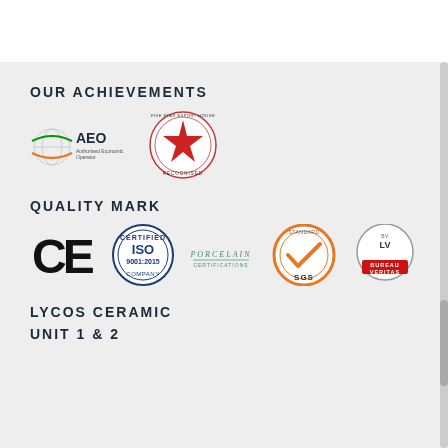OUR ACHIEVEMENTS
[Figure (logo): AEO certification logo with globe icon and orange swoosh]
[Figure (logo): Five Star Export House recognition circular red star badge]
QUALITY MARK
[Figure (logo): CE mark in bold black letters]
[Figure (logo): ISO 9001:2015 Certified Company circular blue badge]
[Figure (logo): Porcelain certification text logo in teal/green]
[Figure (logo): SGS Standard orange circular checkmark badge]
[Figure (logo): Bureau Veritas circular certification badge with red bottom bar]
LYCOS CERAMIC
UNIT 1 & 2